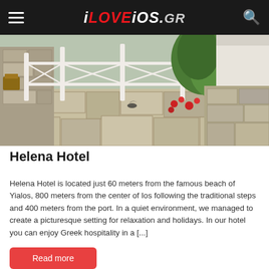iLOVEios.GR
[Figure (photo): Aerial/close-up view of Helena Hotel exterior showing white railing terrace, stone paved courtyard, green plants and red flowers, traditional Greek architecture with stone walls.]
Helena Hotel
Helena Hotel is located just 60 meters from the famous beach of Yialos, 800 meters from the center of Ios following the traditional steps and 400 meters from the port. In a quiet environment, we managed to create a picturesque setting for relaxation and holidays. In our hotel you can enjoy Greek hospitality in a [...]
Read more